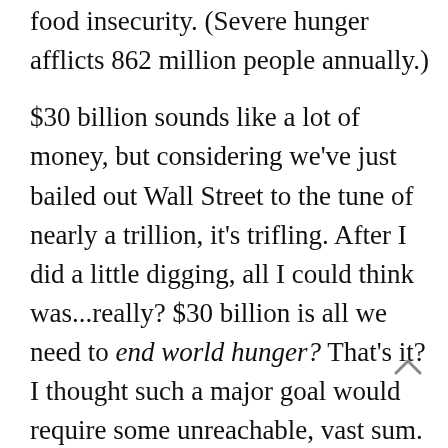food insecurity. (Severe hunger afflicts 862 million people annually.)
$30 billion sounds like a lot of money, but considering we've just bailed out Wall Street to the tune of nearly a trillion, it's trifling. After I did a little digging, all I could think was...really? $30 billion is all we need to end world hunger? That's it? I thought such a major goal would require some unreachable, vast sum. Here are six things I learned we're doing with that money instead.
Global military and arms trade expenditures hit high at about $1 trillion annually. Approximately $540 billion is spent by the United States alone. (I